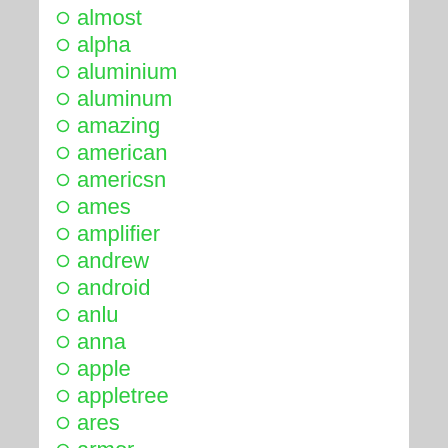almost
alpha
aluminium
aluminum
amazing
american
americsn
ames
amplifier
andrew
android
anlu
anna
apple
appletree
ares
armor
astar
athearn